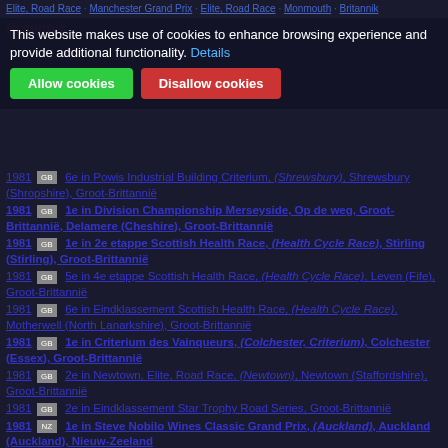Website navigation links (cropped/obscured)
This website makes use of cookies to enhance browsing experience and provide additional functionality. Details [Allow cookies] [Disallow cookies]
1981 Groot-Brittannië 6e in Powis Industrial Building Criterium, (Shrewsbury), Shrewsbury (Shropshire), Groot-Brittannië
1981 Groot-Brittannië 1e in Division Championship Merseyside, Op de weg, Groot-Brittannië, Delamere (Cheshire), Groot-Brittannië
1981 Groot-Brittannië 1e in 2e etappe Scottish Health Race, (Health Cycle Race), Stirling (Stirling), Groot-Brittannië
1981 Groot-Brittannië 5e in 4e etappe Scottish Health Race, (Health Cycle Race), Leven (Fife), Groot-Brittannië
1981 Groot-Brittannië 6e in Eindklassement Scottish Health Race, (Health Cycle Race), Motherwell (North Lanarkshire), Groot-Brittannië
1981 Groot-Brittannië 1e in Criterium des Vainqueurs, (Colchester, Criterium), Colchester (Essex), Groot-Brittannië
1981 Groot-Brittannië 2e in Newtown, Elite, Road Race, (Newtown), Newtown (Staffordshire), Groot-Brittannië
1981 Groot-Brittannië 2e in Eindklassement Star Trophy Road Series, Groot-Brittannië
1981 Nieuw-Zeeland 1e in Steve Nobilo Wines Classic Grand Prix, (Auckland), Auckland (Auckland), Nieuw-Zeeland